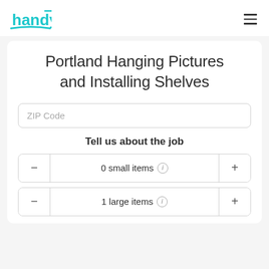handy [logo]
Portland Hanging Pictures and Installing Shelves
ZIP Code
Tell us about the job
0 small items
1 large items